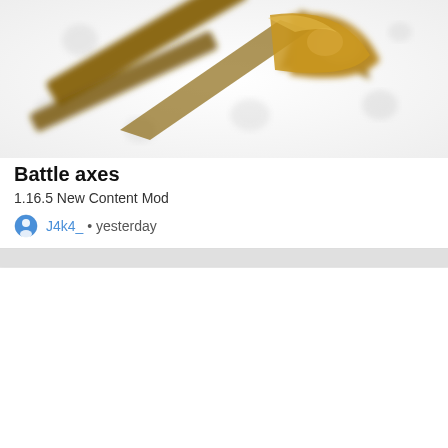[Figure (screenshot): Blurred game screenshot showing a golden/bronze battle axe 3D model on a light background with faint shadow icons]
Battle axes
1.16.5 New Content Mod
J4k4_ • yesterday